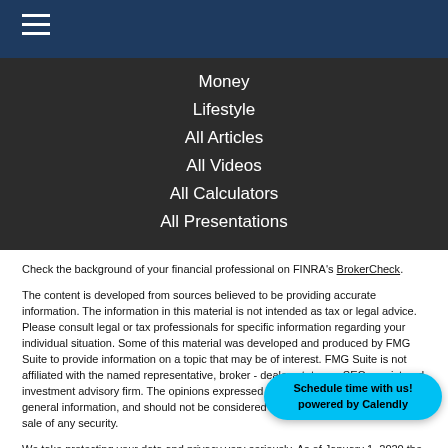Money
Lifestyle
All Articles
All Videos
All Calculators
All Presentations
Check the background of your financial professional on FINRA's BrokerCheck.
The content is developed from sources believed to be providing accurate information. The information in this material is not intended as tax or legal advice. Please consult legal or tax professionals for specific information regarding your individual situation. Some of this material was developed and produced by FMG Suite to provide information on a topic that may be of interest. FMG Suite is not affiliated with the named representative, broker - dealer, state - or SEC - registered investment advisory firm. The opinions expressed and material provided are for general information, and should not be considered a solicitation for the purchase or sale of any security.
We take protecting your data and privacy very seriously. As of January 1, 2020 the California Consumer Privacy Act (CCPA) suggests the following link as an extra measure to safeguard your data: Do not sell my personal information.